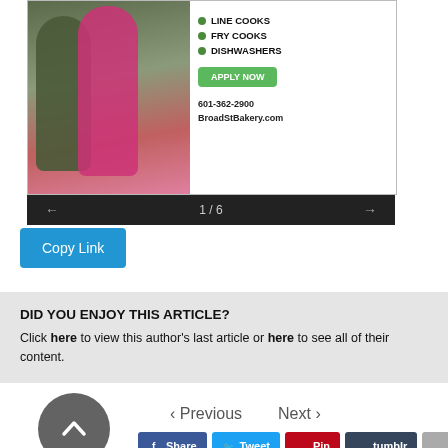[Figure (screenshot): Advertisement image for Broad St Bakery showing two workers and job listings: LINE COOKS, FRY COOKS, DISHWASHERS with APPLY NOW button, 601-362-2900, BroadStBakery.com. Navigation shows 1/6 with previous/next arrows on dark bar.]
Copy Link
DID YOU ENJOY THIS ARTICLE?
Click here to view this author's last article or here to see all of their content.
‹ Previous   Next ›
Share  Tweet  Pin  tumblr  Email